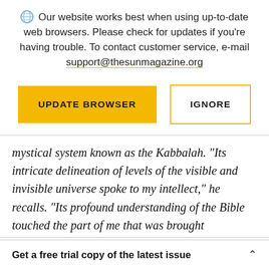Our website works best when using up-to-date web browsers. Please check for updates if you're having trouble. To contact customer service, e-mail support@thesunmagazine.org
[Figure (other): Two buttons: a yellow filled button labeled UPDATE BROWSER and a yellow-outlined empty button labeled IGNORE]
mystical system known as the Kabbalah. “Its intricate delineation of levels of the visible and invisible universe spoke to my intellect,” he recalls. “Its profound understanding of the Bible touched the part of me that was brought
Get a free trial copy of the latest issue